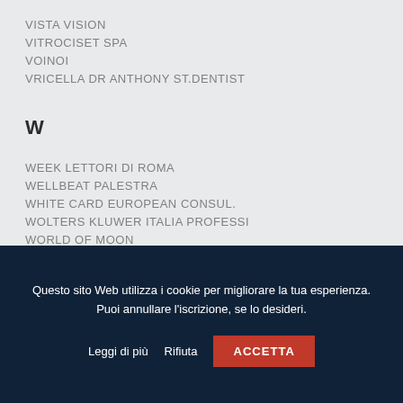VISTA VISION
VITROCISET SPA
VOINOI
VRICELLA DR ANTHONY ST.DENTIST
W
WEEK LETTORI DI ROMA
WELLBEAT PALESTRA
WHITE CARD EUROPEAN CONSUL.
WOLTERS KLUWER ITALIA PROFESSI
WORLD OF MOON
WORLD TOUR
WUOMO SRL
Questo sito Web utilizza i cookie per migliorare la tua esperienza. Puoi annullare l'iscrizione, se lo desideri.
Leggi di più  Rifiuta  ACCETTA